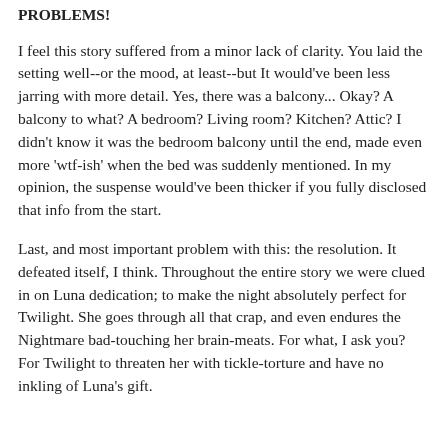PROBLEMS!
I feel this story suffered from a minor lack of clarity. You laid the setting well--or the mood, at least--but It would've been less jarring with more detail. Yes, there was a balcony... Okay? A balcony to what? A bedroom? Living room? Kitchen? Attic? I didn't know it was the bedroom balcony until the end, made even more 'wtf-ish' when the bed was suddenly mentioned. In my opinion, the suspense would've been thicker if you fully disclosed that info from the start.
Last, and most important problem with this: the resolution. It defeated itself, I think. Throughout the entire story we were clued in on Luna dedication; to make the night absolutely perfect for Twilight. She goes through all that crap, and even endures the Nightmare bad-touching her brain-meats. For what, I ask you? For Twilight to threaten her with tickle-torture and have no inkling of Luna's gift.